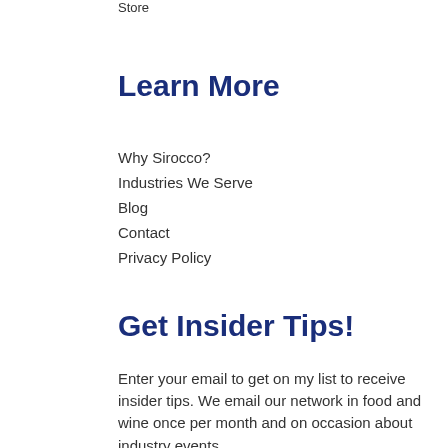Store
Learn More
Why Sirocco?
Industries We Serve
Blog
Contact
Privacy Policy
Get Insider Tips!
Enter your email to get on my list to receive insider tips. We email our network in food and wine once per month and on occasion about industry events.